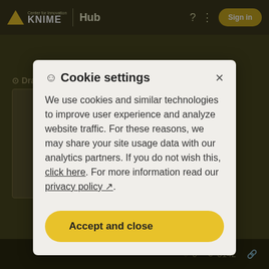KNIME Hub
Cookie settings
We use cookies and similar technologies to improve user experience and analyze website traffic. For these reasons, we may share your site usage data with our analytics partners. If you do not wish this, click here. For more information read our privacy policy.
Accept and close